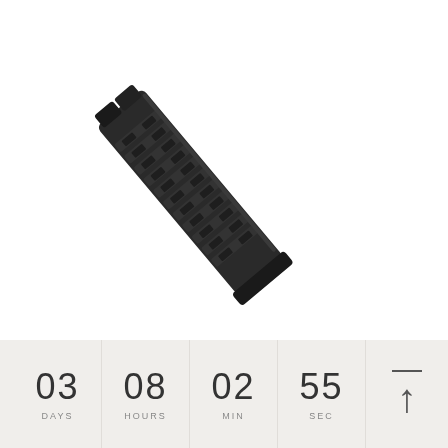[Figure (photo): Black polymer firearm magazine shown at a diagonal angle, with textured grip panels along the body. The magazine is oriented roughly 45 degrees with the feed lips at upper right and the base pad at lower left.]
03 DAYS   08 HOURS   02 MIN   55 SEC